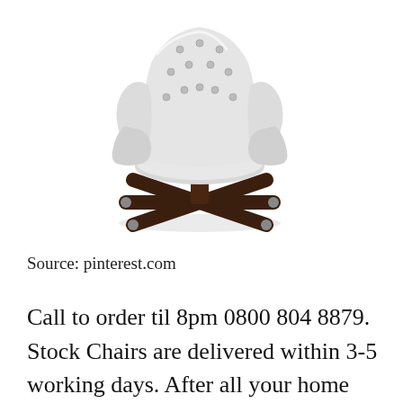[Figure (photo): White/light grey tufted leather executive swivel office chair with a dark walnut wood X-base with casters, photographed on a white background. The chair has a high wingback with button tufting and padded armrests.]
Source: pinterest.com
Call to order til 8pm 0800 804 8879. Stock Chairs are delivered within 3-5 working days. After all your home office. Find it at a great price at Furn[CLOSE X]illage. Any part of